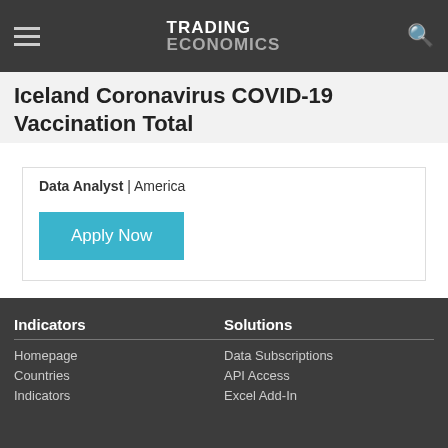TRADING ECONOMICS
Iceland Coronavirus COVID-19 Vaccination Total
Data Analyst | America
Apply Now
Indicators: Homepage, Countries, Indicators | Solutions: Data Subscriptions, API Access, Excel Add-In